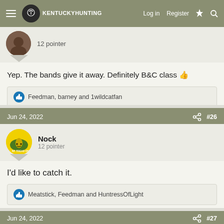Kentucky Hunting — Log in  Register
12 pointer
Yep. The bands give it away. Definitely B&C class 👍
Feedman, barney and 1wildcatfan
Jun 24, 2022  #26
Nock
12 pointer
I'd like to catch it.
Meatstick, Feedman and HuntressOfLight
Jun 24, 2022  #27